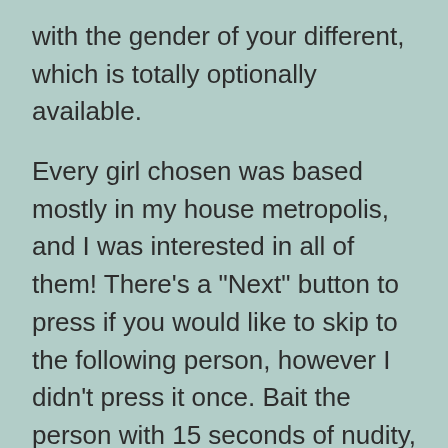with the gender of your different, which is totally optionally available.

Every girl chosen was based mostly in my house metropolis, and I was interested in all of them! There’s a “Next” button to press if you would like to skip to the following person, however I didn’t press it once. Bait the person with 15 seconds of nudity, take their money, then send them to a sub-standard premium service. However, as a end result of LuckyCrush is completely a video chat service, we had to stray from the beaten path. Chatrandom- Chatrandom supplies medium to